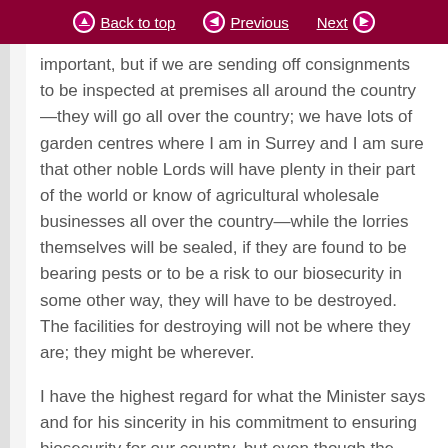Back to top | Previous | Next
important, but if we are sending off consignments to be inspected at premises all around the country—they will go all over the country; we have lots of garden centres where I am in Surrey and I am sure that other noble Lords will have plenty in their part of the world or know of agricultural wholesale businesses all over the country—while the lorries themselves will be sealed, if they are found to be bearing pests or to be a risk to our biosecurity in some other way, they will have to be destroyed. The facilities for destroying will not be where they are; they might be wherever.
I have the highest regard for what the Minister says and for his sincerity in his commitment to ensuring biosecurity for our country, but even though the